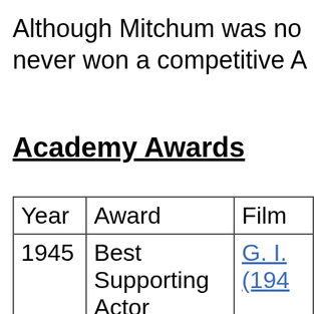Although Mitchum was no never won a competitive A
Academy Awards
| Year | Award | Film |
| --- | --- | --- |
| 1945 | Best Supporting Actor | G. I. (194 |